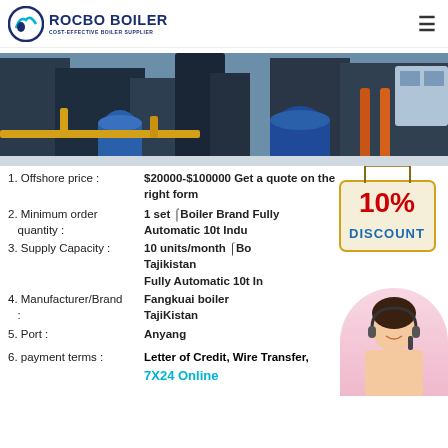ROCBO BOILER - COST-EFFECTIVE BOILER SUPPLIER
[Figure (photo): Industrial boiler equipment with yellow pipes, blue containers, and machinery in a manufacturing facility]
1. Offshore price : $20000-$100000 Get a quote on the right form
2. Minimum order quantity : 1 set Boiler Brand Fully Automatic 10t Industrial Boiler Tajikistan
3. Supply Capacity : 10 units/month Boiler Brand Fully Automatic 10t Industrial Boiler Tajikistan
4. Manufacturer/Brand : Fangkuai boiler TajiKistan
5. Port : Anyang
6. payment terms : Letter of Credit, Wire Transfer, 7X24 Online